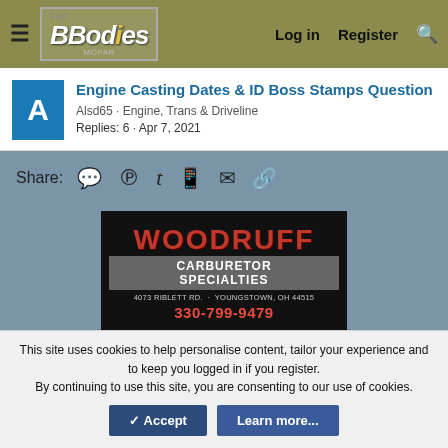Full B Bodies Only Mopar Forum — Log in | Register | Search
Engine Casting Dates & ID Boss Stamps Question
Alsd65 · Engine, Trans & Driveline
Replies: 6 · Apr 7, 2021
Share:
[Figure (photo): Woodruff Carburetor Specialties advertisement banner: 4073 Riblett Rd, Youngstown, OH 44515, phone 330-799-9479]
This site uses cookies to help personalise content, tailor your experience and to keep you logged in if you register.
By continuing to use this site, you are consenting to our use of cookies.